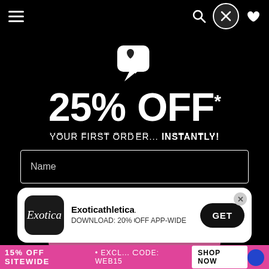[Figure (screenshot): Mobile website popup modal on Exoticathletica offering 25% OFF your first order instantly, with Name and Email input fields and a pink CTA button. A chat bubble icon with a heart is shown above the discount text. An app download banner is shown at the bottom offering 20% off app-wide. A pink bottom bar shows '15% OFF SITEWIDE' promotion with 'SHOP NOW' button.]
25% OFF*
YOUR FIRST ORDER... INSTANTLY!
Name
Email
Exoticathletica
DOWNLOAD: 20% OFF APP-WIDE
GET
15% OFF SITEWIDE
SHOP NOW